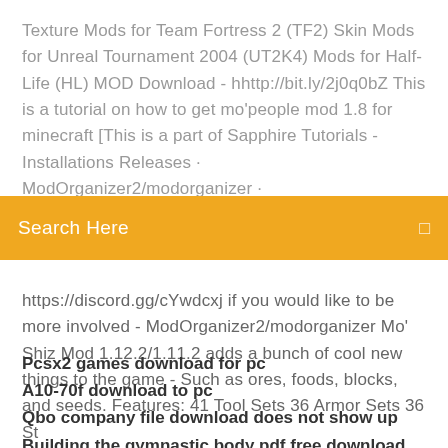Texture Mods for Team Fortress 2 (TF2) Skin Mods for Unreal Tournament 2004 (UT2K4) Mods for Half-Life (HL) MOD Download - hhttp://bit.ly/2j0q0bZ This is a tutorial on how to get mo'people mod 1.8 for minecraft [This is a part of Sapphire Tutorials - Installations Releases · ModOrganizer2/modorganizer ·
[Figure (other): Orange search bar with text 'Search Here' and a search icon on the right]
https://discord.gg/cYwdcxj if you would like to be more involved - ModOrganizer2/modorganizer Mo' Shiz Mod 1.12.2/1.11.2 adds a bunch of cool new things to the game - Such as ores, foods, blocks, and seeds. Features: 41 Tool Sets 36 Armor Sets 36 St
Pcsx2 games download for pc
A10-70f download to pc
Qbo company file download does not show up
Building the gymnastic body pdf free download